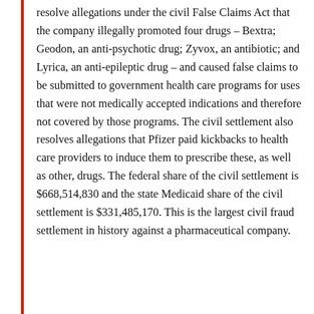resolve allegations under the civil False Claims Act that the company illegally promoted four drugs – Bextra; Geodon, an anti-psychotic drug; Zyvox, an antibiotic; and Lyrica, an anti-epileptic drug – and caused false claims to be submitted to government health care programs for uses that were not medically accepted indications and therefore not covered by those programs. The civil settlement also resolves allegations that Pfizer paid kickbacks to health care providers to induce them to prescribe these, as well as other, drugs. The federal share of the civil settlement is $668,514,830 and the state Medicaid share of the civil settlement is $331,485,170. This is the largest civil fraud settlement in history against a pharmaceutical company.